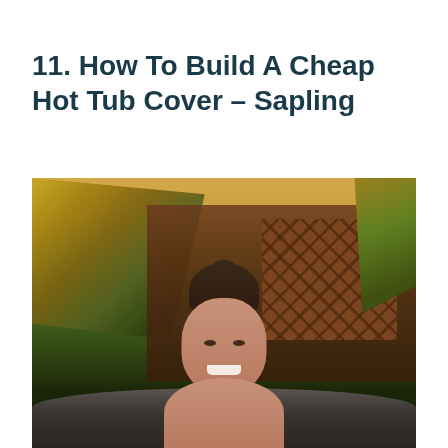11. How To Build A Cheap Hot Tub Cover – Sapling
[Figure (photo): A smiling young woman with hair in a bun and sunglasses on her head, sitting in a hot tub outdoors. Background shows palm trees with golden-lit fronds and a wooden lattice fence.]